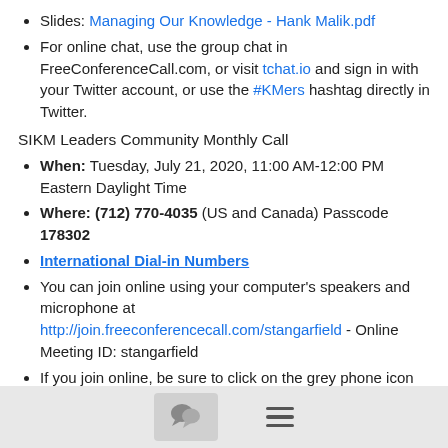Slides: Managing Our Knowledge - Hank Malik.pdf
For online chat, use the group chat in FreeConferenceCall.com, or visit tchat.io and sign in with your Twitter account, or use the #KMers hashtag directly in Twitter.
SIKM Leaders Community Monthly Call
When: Tuesday, July 21, 2020, 11:00 AM-12:00 PM Eastern Daylight Time
Where: (712) 770-4035 (US and Canada) Passcode 178302
International Dial-in Numbers
You can join online using your computer's speakers and microphone at http://join.freeconferencecall.com/stangarfield - Online Meeting ID: stangarfield
If you join online, be sure to click on the grey phone icon and then choose your audio preference. If your audio is live, you should see a red phone icon.
If you have problems connecting, call customer service at 844-844-1322.
Occurs the third Tuesday of every month from 11:00 AM to 12:00 PM Eastern Time (USA).